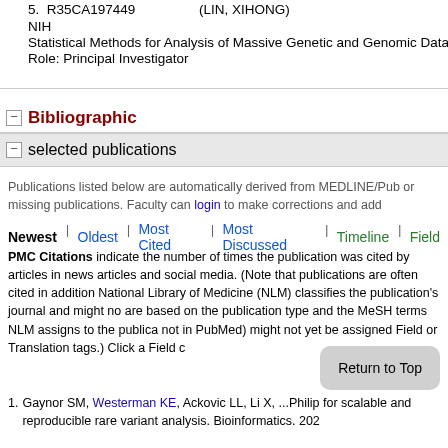5. R35CA197449  (LIN, XIHONG)
NIH
Statistical Methods for Analysis of Massive Genetic and Genomic Data
Role: Principal Investigator
Bibliographic
selected publications
Publications listed below are automatically derived from MEDLINE/Pub or missing publications. Faculty can login to make corrections and add
Newest | Oldest | Most Cited | Most Discussed | Timeline | Field
PMC Citations indicate the number of times the publication was cited by articles in news articles and social media. (Note that publications are often cited in addition National Library of Medicine (NLM) classifies the publication's journal and might no are based on the publication type and the MeSH terms NLM assigns to the publica not in PubMed) might not yet be assigned Field or Translation tags.) Click a Field c
1. Gaynor SM, Westerman KE, Ackovic LL, Li X, ...Philip for scalable and reproducible rare variant analysis. Bioinformatics. 202